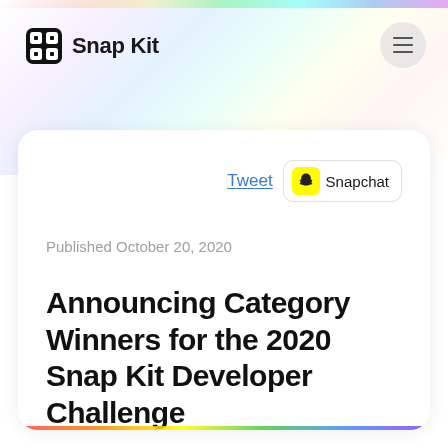Snap Kit
Tweet  Snapchat
Published October 20, 2020
Announcing Category Winners for the 2020 Snap Kit Developer Challenge